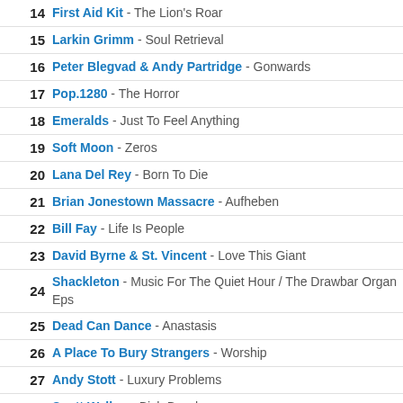14 First Aid Kit - The Lion's Roar
15 Larkin Grimm - Soul Retrieval
16 Peter Blegvad & Andy Partridge - Gonwards
17 Pop.1280 - The Horror
18 Emeralds - Just To Feel Anything
19 Soft Moon - Zeros
20 Lana Del Rey - Born To Die
21 Brian Jonestown Massacre - Aufheben
22 Bill Fay - Life Is People
23 David Byrne & St. Vincent - Love This Giant
24 Shackleton - Music For The Quiet Hour / The Drawbar Organ Eps
25 Dead Can Dance - Anastasis
26 A Place To Bury Strangers - Worship
27 Andy Stott - Luxury Problems
28 Scott Walker - Bish Bosch
29 Andrew Bird - Break It Yourself
30 Monica Richards - Naiades
31 Leonard Cohen - Old Ideas
32 Tindersticks - The Something Rain
33 Death Grips - The Money Store
34 Flying Lotus - Until The Quiet Comes
35 Kreng - Works For Abattoir Ferme'
36 Silent Servant - Negative Fascination